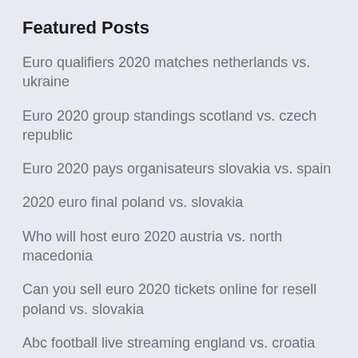Featured Posts
Euro qualifiers 2020 matches netherlands vs. ukraine
Euro 2020 group standings scotland vs. czech republic
Euro 2020 pays organisateurs slovakia vs. spain
2020 euro final poland vs. slovakia
Who will host euro 2020 austria vs. north macedonia
Can you sell euro 2020 tickets online for resell poland vs. slovakia
Abc football live streaming england vs. croatia
Who has wualified gor euro 2020 portugal vs. germany
2020 fifa euro cup spain vs. sweden